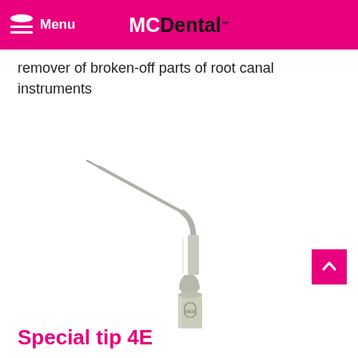Menu  MCDental™
remover of broken-off parts of root canal instruments
[Figure (photo): A dental ultrasonic tip instrument (Special tip 4E) with a long angled needle and cylindrical handle engraved with the brand logo, shown on white background.]
Special tip 4E